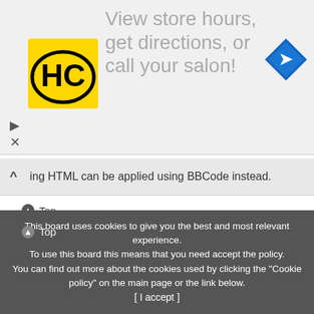[Figure (screenshot): Advertisement banner with HC salon logo and navigation icon. Text reads 'View store hours, get directions, or call your salon!']
ing HTML can be applied using BBCode instead.
⊙ Top
What are Smilies?
Smilies, or Emoticons, are small images which can be used to express a feeling using a short code, e.g. :) denotes happy, while :( denotes sad. The full list of emoticons can be seen in the posting form. Try not to overuse smilies, however, as they can quickly render a post unreadable and a moderator may edit them out or remove the post altogether. The board administrator may also have set a limit to the number of smilies you may use within a post.
⊙ Top
This board uses cookies to give you the best and most relevant experience. To use this board this means that you need accept the policy. You can find out more about the cookies used by clicking the "Cookie policy" on the main page or the link below. [ I accept ]